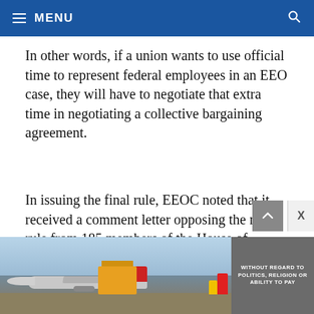MENU
In other words, if a union wants to use official time to represent federal employees in an EEO case, they will have to negotiate that extra time in negotiating a collective bargaining agreement.
In issuing the final rule, EEOC noted that it received a comment letter opposing the new rule from 185 members of the House of Representatives. Obviously, Democrats in Congress generally support providing more benefits for federal employee unions and that is
[Figure (photo): Advertisement banner showing an airplane being loaded with cargo, with text 'WITHOUT REGARD TO POLITICS, RELIGION OR ABILITY TO PAY']